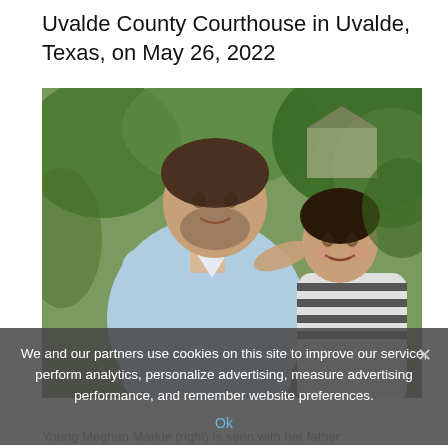Uvalde County Courthouse in Uvalde, Texas, on May 26, 2022
[Figure (photo): A man and a young woman (Meghan Markle) posing together outdoors. The man is large, wearing a light blue shirt. The woman is leaning her head on his shoulder, smiling, wearing a striped top. Green trees and a building are visible in the background.]
We and our partners use cookies on this site to improve our service, perform analytics, personalize advertising, measure advertising performance, and remember website preferences.
Ok
Young Meghan Markle (right) is seen with her father